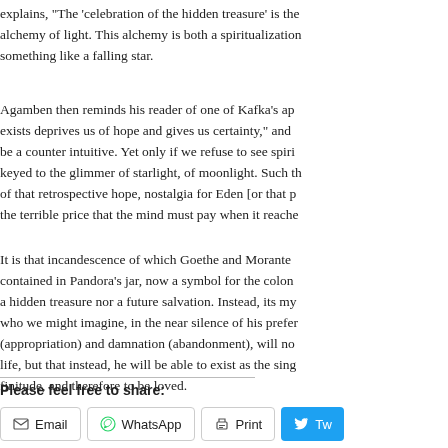explains, “The ‘celebration of the hidden treasure’ is the alchemy of light. This alchemy is both a spiritualization something like a falling star.
Agamben then reminds his reader of one of Kafka’s ap exists deprives us of hope and gives us certainty,” and be a counter intuitive. Yet only if we refuse to see spiri keyed to the glimmer of starlight, of moonlight. Such th of that retrospective hope, nostalgia for Eden [or that p the terrible price that the mind must pay when it reache
It is that incandescence of which Goethe and Morante contained in Pandora’s jar, now a symbol for the colon a hidden treasure nor a future salvation. Instead, its my who we might imagine, in the near silence of his prefer (appropriation) and damnation (abandonment), will no life, but that instead, he will be able to exist as the sing finitude, and therefore to be loved.
Please feel free to share:
Email  WhatsApp  Print  Tw